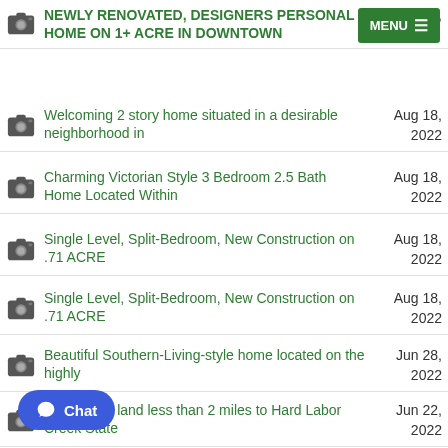NEWLY RENOVATED, DESIGNERS PERSONAL HOME ON 1+ ACRE IN DOWNTOWN — Aug 26
Welcoming 2 story home situated in a desirable neighborhood in — Aug 18, 2022
Charming Victorian Style 3 Bedroom 2.5 Bath Home Located Within — Aug 18, 2022
Single Level, Split-Bedroom, New Construction on .71 ACRE — Aug 18, 2022
Single Level, Split-Bedroom, New Construction on .71 ACRE — Aug 18, 2022
Beautiful Southern-Living-style home located on the highly — Jun 28, 2022
10 acres of land less than 2 miles to Hard Labor Creek State — Jun 22, 2022
...ortunity to build your dream home in a great location on — Jun 22, 2022